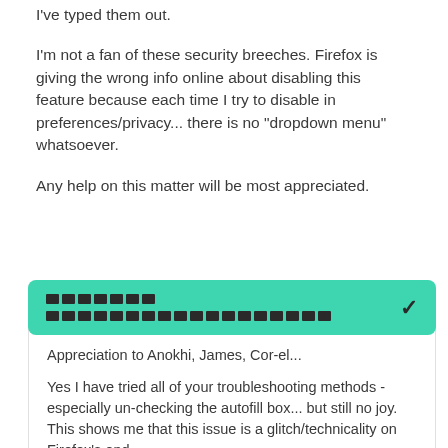I've typed them out.
I'm not a fan of these security breeches. Firefox is giving the wrong info online about disabling this feature because each time I try to disable in preferences/privacy... there is no "dropdown menu" whatsoever.
Any help on this matter will be most appreciated.
[Figure (screenshot): A card UI element with a teal/green rounded header containing redacted text blocks and a checkmark, followed by card body text: 'Appreciation to Anokhi, James, Cor-el...' and a reply text about troubleshooting methods.]
Appreciation to Anokhi, James, Cor-el...
Yes I have tried all of your troubleshooting methods - especially un-checking the autofill box... but still no joy. This shows me that this issue is a glitch/technicality on Firefox's end.
I will now close this support ticket. Hopefully